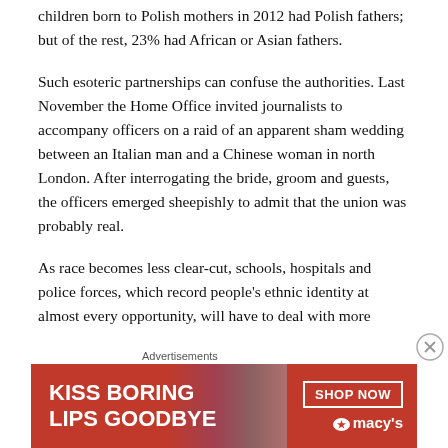children born to Polish mothers in 2012 had Polish fathers; but of the rest, 23% had African or Asian fathers.
Such esoteric partnerships can confuse the authorities. Last November the Home Office invited journalists to accompany officers on a raid of an apparent sham wedding between an Italian man and a Chinese woman in north London. After interrogating the bride, groom and guests, the officers emerged sheepishly to admit that the union was probably real.
As race becomes less clear-cut, schools, hospitals and police forces, which record people's ethnic identity at almost every opportunity, will have to deal with more
[Figure (other): Advertisement banner: KISS BORING LIPS GOODBYE with SHOP NOW and Macy's branding on red background with woman's face]